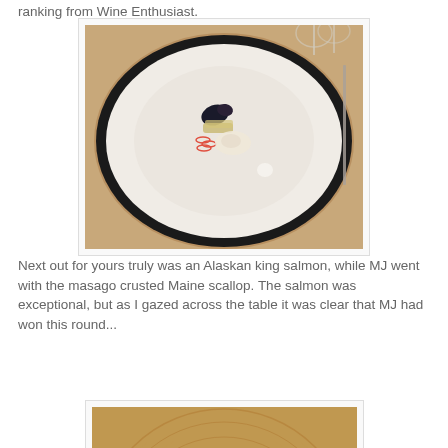ranking from Wine Enthusiast.
[Figure (photo): A fine dining plate with a small elegant food presentation, red ring garnishes, dark leafy elements, on a white plate with dark rim border. Wine glasses visible in background.]
Next out for yours truly was an Alaskan king salmon, while MJ went with the masago crusted Maine scallop. The salmon was exceptional, but as I gazed across the table it was clear that MJ had won this round...
[Figure (photo): A close-up of a fine dining plate showing a scallop dish with garnish, on a decorative plate with textured pattern.]